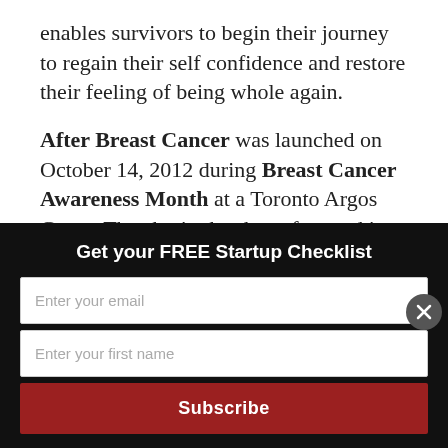enables survivors to begin their journey to regain their self confidence and restore their feeling of being whole again.
After Breast Cancer was launched on October 14, 2012 during Breast Cancer Awareness Month at a Toronto Argos Game. The charity has been featured in Toronto Is Awesome, OMNI Television's Culture Avenue, Samaritan Magazine, Girls of T.O, Urban Moms, CP24
Get your FREE Startup Checklist
Enter your email
Enter your first name
Subscribe